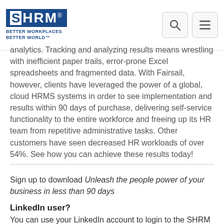[Figure (logo): SHRM logo with tagline 'BETTER WORKPLACES BETTER WORLD' and search/menu icons in header]
analytics. Tracking and analyzing results means wrestling with inefficient paper trails, error-prone Excel spreadsheets and fragmented data. With Fairsail, however, clients have leveraged the power of a global, cloud HRMS systems in order to see implementation and results within 90 days of purchase, delivering self-service functionality to the entire workforce and freeing up its HR team from repetitive administrative tasks. Other customers have seen decreased HR workloads of over 54%. See how you can achieve these results today!
Sign up to download Unleash the people power of your business in less than 90 days
LinkedIn user?
You can use your LinkedIn account to login to the SHRM Human Resource Vendor